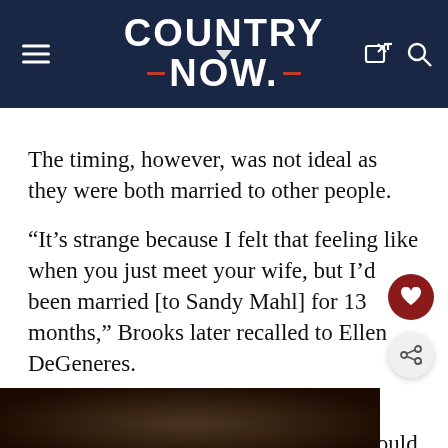COUNTRY NOW.
The timing, however, was not ideal as they were both married to other people.
“It’s strange because I felt that feeling like when you just meet your wife, but I’d been married [to Sandy Mahl] for 13 months,” Brooks later recalled to Ellen DeGeneres.
The pair struck up a friendship and Brooks promised Yearwood that she could open for him if he ever got a record deal.
[Figure (photo): Bottom cropped photo, partially visible, dark toned image]